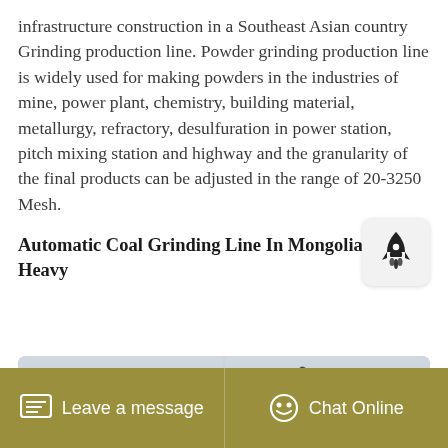infrastructure construction in a Southeast Asian country Grinding production line. Powder grinding production line is widely used for making powders in the industries of mine, power plant, chemistry, building material, metallurgy, refractory, desulfuration in power station, pitch mixing station and highway and the granularity of the final products can be adjusted in the range of 20-3250 Mesh.
[Figure (other): Rocket/launch icon button — a small rounded square button with a rocket ship icon, positioned in the lower-right area of the text block]
Automatic Coal Grinding Line In Mongoliavipeak Heavy
[Figure (photo): A black and white or grayscale photograph showing heavy construction or mining equipment (excavator arms/machinery) outdoors]
Leave a message   Chat Online